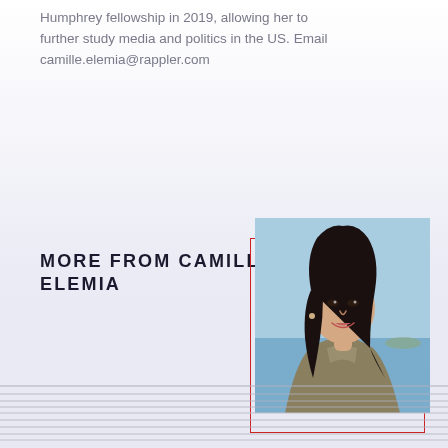Humphrey fellowship in 2019, allowing her to further study media and politics in the US. Email camille.elemia@rappler.com
MORE FROM CAMILLE ELEMIA
[Figure (photo): Portrait photo of Camille Elemia, a young woman with long dark hair, smiling, wearing a light olive/khaki jacket, with a blue sky and water in the background. Photo has a red decorative border offset.]